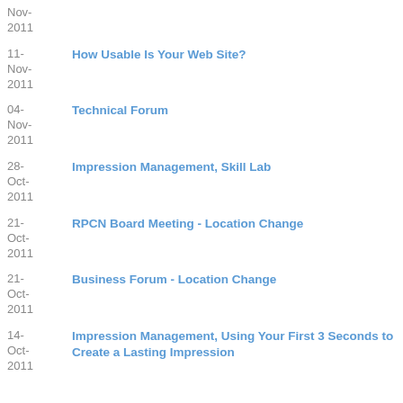Nov-2011
11-Nov-2011 | How Usable Is Your Web Site?
04-Nov-2011 | Technical Forum
28-Oct-2011 | Impression Management, Skill Lab
21-Oct-2011 | RPCN Board Meeting - Location Change
21-Oct-2011 | Business Forum - Location Change
14-Oct-2011 | Impression Management, Using Your First 3 Seconds to Create a Lasting Impression